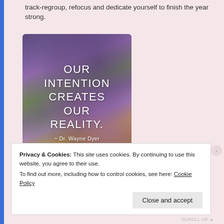track-regroup, refocus and dedicate yourself to finish the year strong.
[Figure (illustration): Motivational quote image over a purple and green floral meadow landscape with text: OUR INTENTION CREATES OUR REALITY. ~ Dr. Wayne Dyer]
Privacy & Cookies: This site uses cookies. By continuing to use this website, you agree to their use. To find out more, including how to control cookies, see here: Cookie Policy
Close and accept